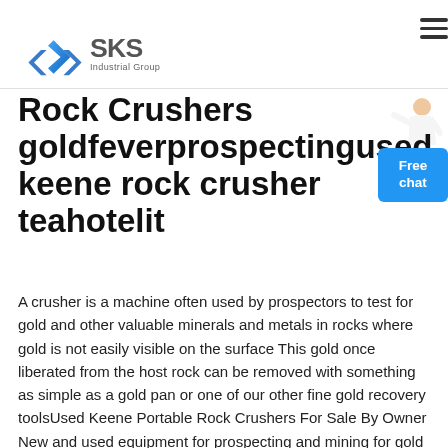[Figure (logo): SKS Industrial Group logo with blue angular diamond shape and gray SKS text with 'Industrial Group' subtitle]
[Figure (illustration): Small illustration of a person in white clothing gesturing, positioned top right near Free chat button]
[Figure (other): Blue Free chat button, top right corner]
Rock Crushers goldfeverprospectingused keene rock crusher teahotelit
A crusher is a machine often used by prospectors to test for gold and other valuable minerals and metals in rocks where gold is not easily visible on the surface This gold once liberated from the host rock can be removed with something as simple as a gold pan or one of our other fine gold recovery toolsUsed Keene Portable Rock Crushers For Sale By Owner New and used equipment for prospecting and mining for gold silver You will find new